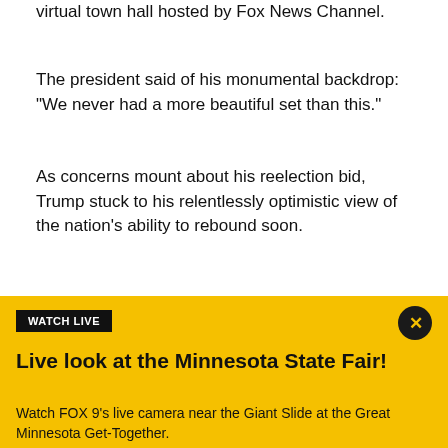virtual town hall hosted by Fox News Channel.
The president said of his monumental backdrop: "We never had a more beautiful set than this."
As concerns mount about his reelection bid, Trump stuck to his relentlessly optimistic view of the nation's ability to rebound soon.
“It is all working out,” Trump said. “It is horrible to go through, but it is working out.”
[Figure (screenshot): Fox News video banner showing headline: Trump says death toll could reach 100,000]
[Figure (infographic): Yellow advertisement banner: WATCH LIVE - Live look at the Minnesota State Fair! Watch FOX 9's live camera near the Giant Slide at the Great Minnesota Get-Together.]